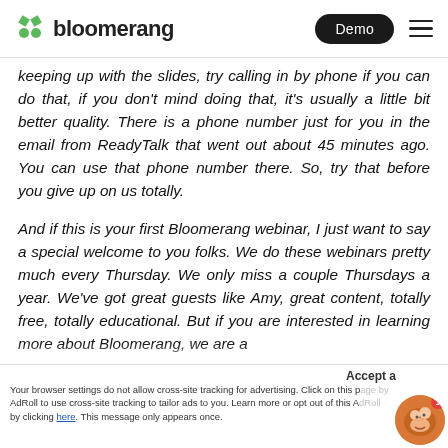bloomerang | Demo
keeping up with the slides, try calling in by phone if you can do that, if you don't mind doing that, it's usually a little bit better quality. There is a phone number just for you in the email from ReadyTalk that went out about 45 minutes ago. You can use that phone number there. So, try that before you give up on us totally.
And if this is your first Bloomerang webinar, I just want to say a special welcome to you folks. We do these webinars pretty much every Thursday. We only miss a couple Thursdays a year. We've got great guests like Amy, great content, totally free, totally educational. But if you are interested in learning more about Bloomerang, we are a
Your browser settings do not allow cross-site tracking for advertising. Click on this page by AdRoll to use cross-site tracking to tailor ads to you. Learn more or opt out of this AdRoll by clicking here. This message only appears once.